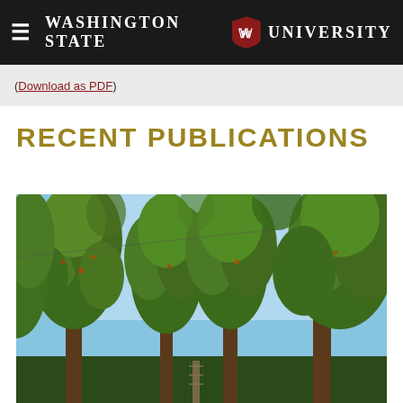Washington State University
(Download as PDF)
RECENT PUBLICATIONS
[Figure (photo): Photograph looking up into fruit trees (likely cherry or similar) against a blue sky, showing tall columnar trees with green leafy canopy.]